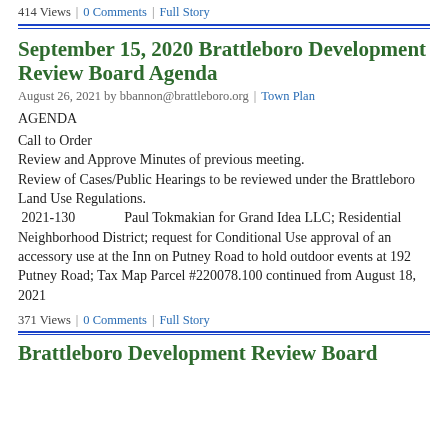414 Views | 0 Comments | Full Story
September 15, 2020 Brattleboro Development Review Board Agenda
August 26, 2021 by bbannon@brattleboro.org | Town Plan
AGENDA
Call to Order
Review and Approve Minutes of previous meeting.
Review of Cases/Public Hearings to be reviewed under the Brattleboro Land Use Regulations.
2021-130        Paul Tokmakian for Grand Idea LLC; Residential Neighborhood District; request for Conditional Use approval of an accessory use at the Inn on Putney Road to hold outdoor events at 192 Putney Road; Tax Map Parcel #220078.100 continued from August 18, 2021
371 Views | 0 Comments | Full Story
Brattleboro Development Review Board